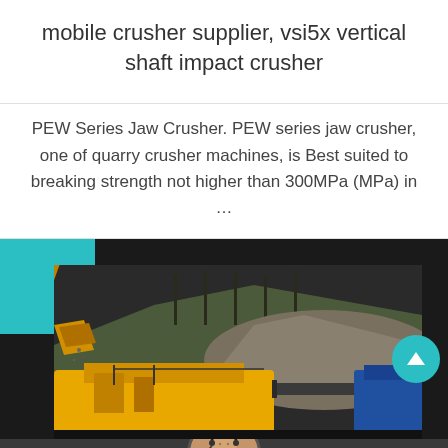mobile crusher supplier, vsi5x vertical shaft impact crusher
PEW Series Jaw Crusher. PEW series jaw crusher, one of quarry crusher machines, is Best suited to breaking strength not higher than 300MPa (MPa) in …
[Figure (photo): Outdoor photo of yellow industrial mobile crusher machinery with excavator bucket pouring material, set against a hillside with trees in background]
Leave Message
Chat Online